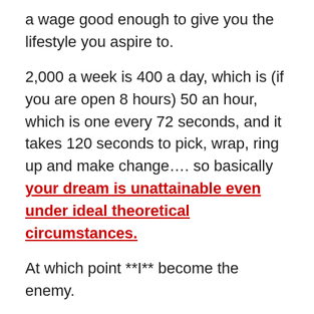a wage good enough to give you the lifestyle you aspire to.
2,000 a week is 400 a day, which is (if you are open 8 hours) 50 an hour, which is one every 72 seconds, and it takes 120 seconds to pick, wrap, ring up and make change…. so basically your dream is unattainable even under ideal theoretical circumstances.
At which point **I** become the enemy.
I haven't done anything, except invoke reality.
It is this inability to grasp reality that lies behind wimminz inability to do any genuine form of forward planning, and this same inability to grasp reality that lies behind wimminz in cuck relationshits claiming everything in the garden is both happy and healthy and perfectly normal and